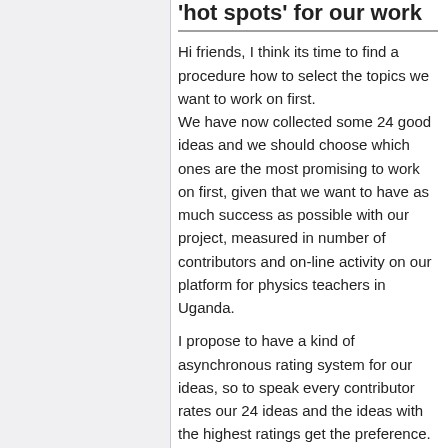'hot spots' for our work
Hi friends, I think its time to find a procedure how to select the topics we want to work on first.
We have now collected some 24 good ideas and we should choose which ones are the most promising to work on first, given that we want to have as much success as possible with our project, measured in number of contributors and on-line activity on our platform for physics teachers in Uganda.
I propose to have a kind of asynchronous rating system for our ideas, so to speak every contributor rates our 24 ideas and the ideas with the highest ratings get the preference. -- Günther Osswald 14:47, 12 November 2008 (UTC)
However in my view it would be great if